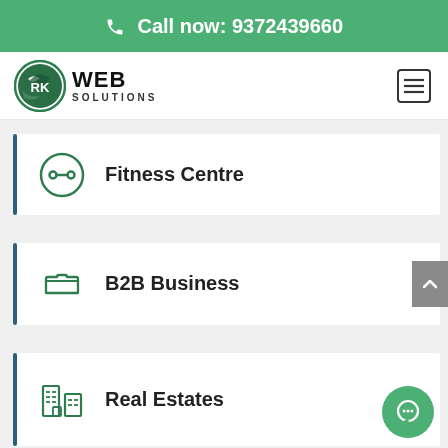Call now: 9372439660
[Figure (logo): RK Web Solutions logo — circular green RK emblem with WEB SOLUTIONS text]
Fitness Centre
B2B Business
Real Estates